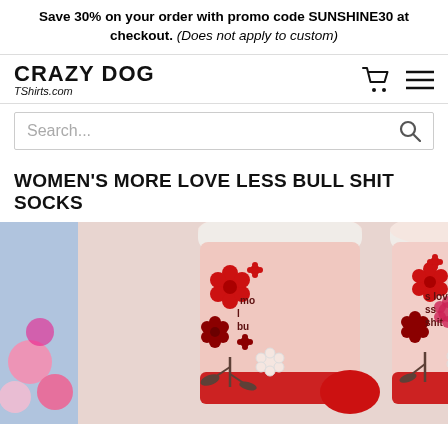Save 30% on your order with promo code SUNSHINE30 at checkout. (Does not apply to custom)
[Figure (logo): Crazy Dog TShirts.com logo with shopping cart and hamburger menu icons]
Search...
WOMEN'S MORE LOVE LESS BULL SHIT SOCKS
[Figure (photo): Product photo of pink floral socks with 'more love less bull shit' text, showing two socks side by side with red and dark red flowers on a pink background, with a blue and pink floral background on the left edge]